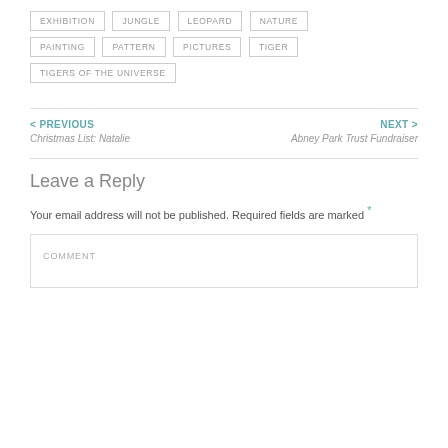EXHIBITION
JUNGLE
LEOPARD
NATURE
PAINTING
PATTERN
PICTURES
TIGER
TIGERS OF THE UNIVERSE
< PREVIOUS
Christmas List: Natalie
NEXT >
Abney Park Trust Fundraiser
Leave a Reply
Your email address will not be published. Required fields are marked *
COMMENT